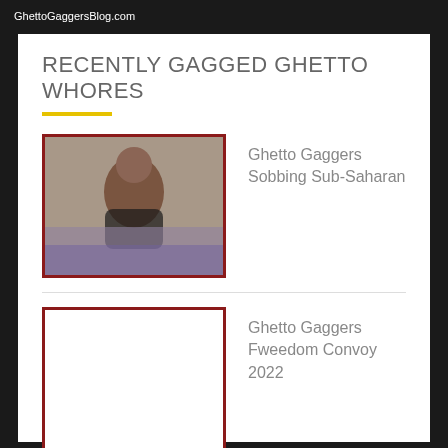GhettoGaggersBlog.com
RECENTLY GAGGED GHETTO WHORES
Ghetto Gaggers Sobbing Sub-Saharan
Ghetto Gaggers Fweedom Convoy 2022